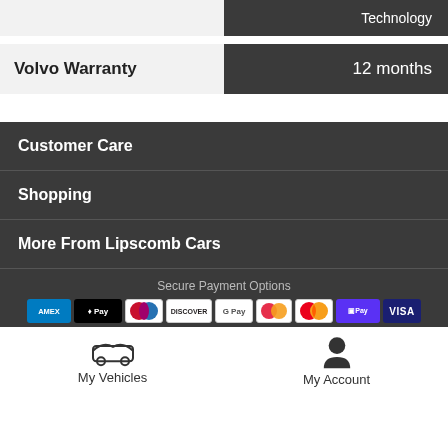|  |  |
| --- | --- |
|  | Technology |
| Volvo Warranty | 12 months |
Customer Care
Shopping
More From Lipscomb Cars
Secure Payment Options
[Figure (other): Payment method icons: American Express, Apple Pay, Diners Club, Discover, Google Pay, Maestro, Mastercard, Samsung Pay/Shopify Pay, Visa]
My Vehicles
My Account